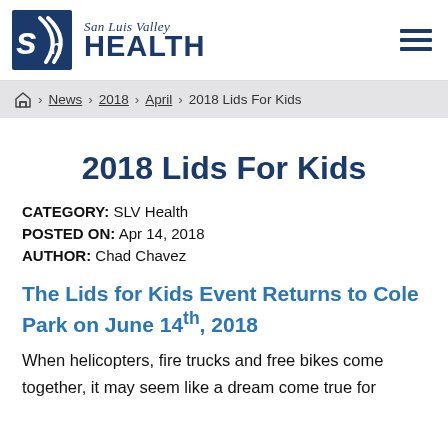San Luis Valley HEALTH
Home > News > 2018 > April > 2018 Lids For Kids
2018 Lids For Kids
CATEGORY: SLV Health
POSTED ON: Apr 14, 2018
AUTHOR: Chad Chavez
The Lids for Kids Event Returns to Cole Park on June 14th, 2018
When helicopters, fire trucks and free bikes come together, it may seem like a dream come true for